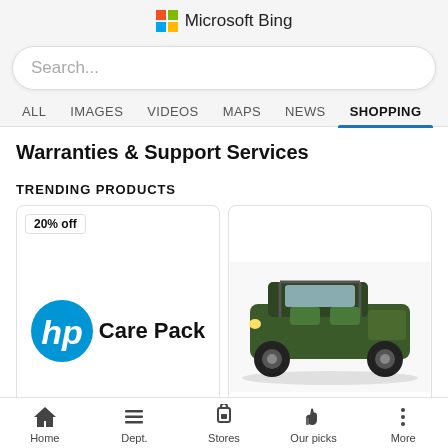Microsoft Bing
Search...
ALL   IMAGES   VIDEOS   MAPS   NEWS   SHOPPING
Warranties & Support Services
TRENDING PRODUCTS
[Figure (photo): HP Care Pack product card with 20% off badge, showing HP logo and 'Care Pack' text]
[Figure (photo): Green utility terrain vehicle (UTV/side-by-side) product card]
Home   Dept.   Stores   Our picks   More